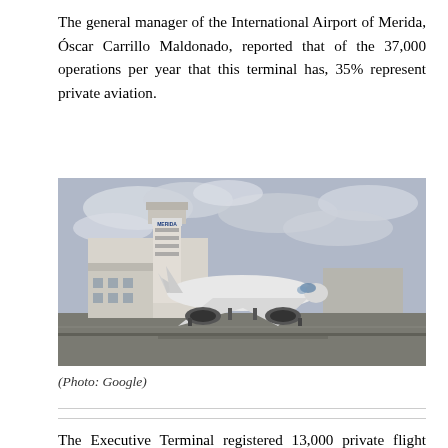The general manager of the International Airport of Merida, Óscar Carrillo Maldonado, reported that of the 37,000 operations per year that this terminal has, 35% represent private aviation.
[Figure (photo): Photograph of the Merida International Airport control tower with a commercial airplane on the tarmac in the foreground, under a cloudy sky.]
(Photo: Google)
The Executive Terminal registered 13,000 private flight operations in 2016, and on average 40 daily flights of private planes...